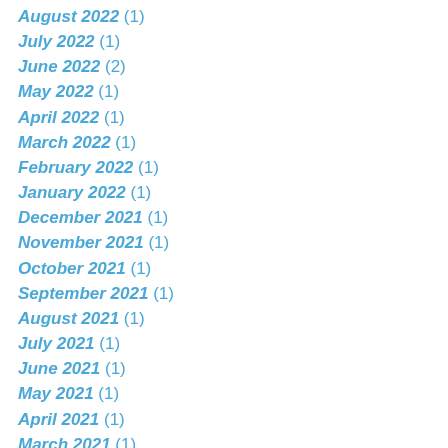August 2022 (1)
July 2022 (1)
June 2022 (2)
May 2022 (1)
April 2022 (1)
March 2022 (1)
February 2022 (1)
January 2022 (1)
December 2021 (1)
November 2021 (1)
October 2021 (1)
September 2021 (1)
August 2021 (1)
July 2021 (1)
June 2021 (1)
May 2021 (1)
April 2021 (1)
March 2021 (1)
February 2021 (1)
January 2021 (1)